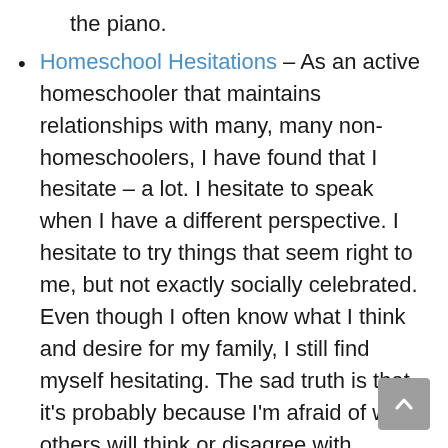the piano.
Homeschool Hesitations – As an active homeschooler that maintains relationships with many, many non-homeschoolers, I have found that I hesitate – a lot. I hesitate to speak when I have a different perspective. I hesitate to try things that seem right to me, but not exactly socially celebrated. Even though I often know what I think and desire for my family, I still find myself hesitating. The sad truth is that it's probably because I'm afraid of what others will think or disagree with. Considering how opinionated I am, I'm sure that sounds foolish. And in reality it is. Which is